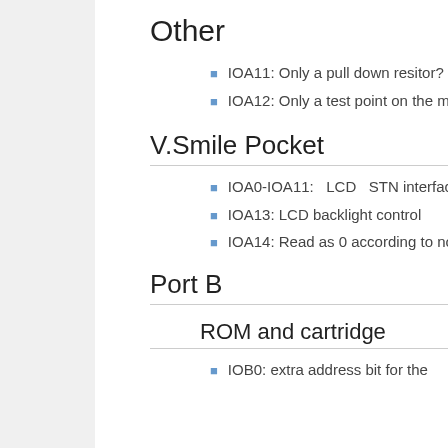Other
IOA11: Only a pull down resitor?
IOA12: Only a test point on the motherboard?
V.Smile Pocket
IOA0-IOA11: LCD STN interface
IOA13: LCD backlight control
IOA14: Read as 0 according to notes in V.Smile Motion schematics
Port B
ROM and cartridge
IOB0: extra address bit for the